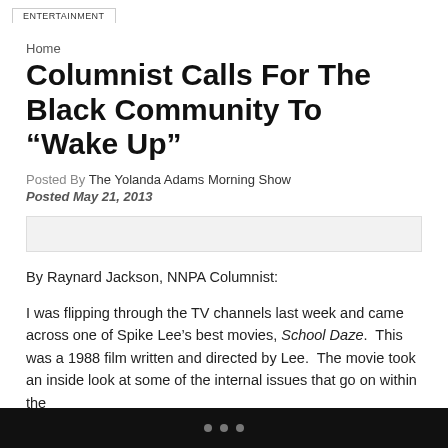ENTERTAINMENT
Home
Columnist Calls For The Black Community To “Wake Up”
Posted By The Yolanda Adams Morning Show
Posted May 21, 2013
[Figure (other): Advertisement banner placeholder (gray bar)]
By Raynard Jackson, NNPA Columnist:
I was flipping through the TV channels last week and came across one of Spike Lee’s best movies, School Daze.  This was a 1988 film written and directed by Lee.  The movie took an inside look at some of the internal issues that go on within the